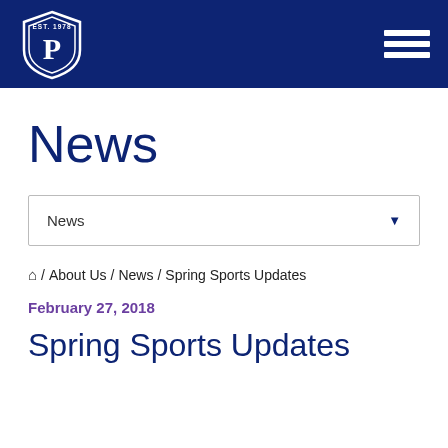EST. 1978 P [logo] [hamburger menu]
News
News ▼
🏠 / About Us / News / Spring Sports Updates
February 27, 2018
Spring Sports Updates